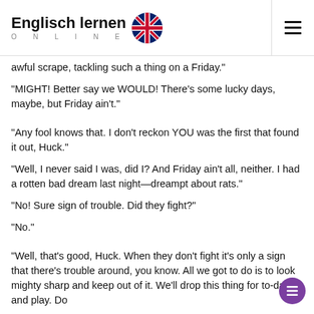Englisch lernen ONLINE
awful scrape, tackling such a thing on a Friday."
"MIGHT! Better say we WOULD! There's some lucky days, maybe, but Friday ain't."
"Any fool knows that. I don't reckon YOU was the first that found it out, Huck."
"Well, I never said I was, did I? And Friday ain't all, neither. I had a rotten bad dream last night—dreampt about rats."
"No! Sure sign of trouble. Did they fight?"
"No."
"Well, that's good, Huck. When they don't fight it's only a sign that there's trouble around, you know. All we got to do is to look mighty sharp and keep out of it. We'll drop this thing for to-day, and play. Do